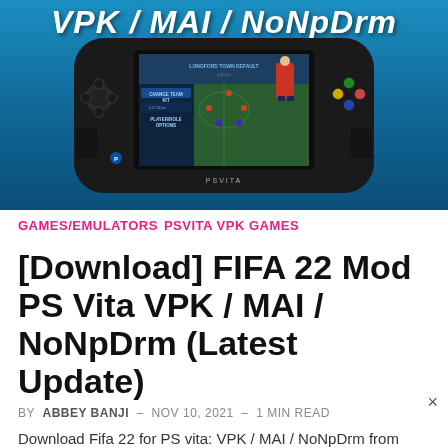[Figure (screenshot): PS Vita handheld gaming device showing FIFA game on screen with blue gradient background and banner text VPK / MAI / NoNpDrm at top]
GAMES/EMULATORS  PSVITA VPK GAMES
[Download] FIFA 22 Mod PS Vita VPK / MAI / NoNpDrm (Latest Update)
BY  ABBEY BANJI  –  NOV 10, 2021  –  1 MIN READ
Download Fifa 22 for PS vita: VPK / MAI / NoNpDrm from